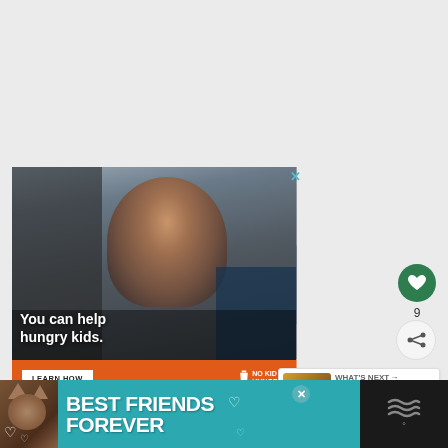[Figure (screenshot): Screenshot of a webpage showing a No Kid Hungry advertisement. The ad features a photo of a young boy eating something in a classroom, with white bold text overlay reading 'You can help hungry kids.' Below is an orange bar with a 'LEARN HOW' button and the No Kid Hungry logo. To the right are social media interaction buttons (heart/like showing 9 likes, and a share button). A 'WHAT'S NEXT' panel shows a thumbnail and text 'Cheese Souffle (A...'. At the bottom of the screen is another advertisement banner with a teal/cyan background showing a cat photo and text 'BEST FRIENDS FOREVER' in large white bold letters.]